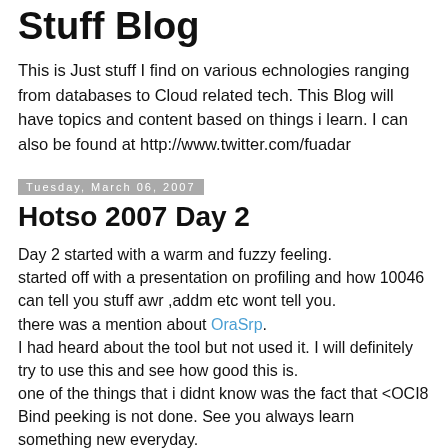Fuad's Learning New Tech Stuff Blog
This is Just stuff I find on various echnologies ranging from databases to Cloud related tech. This Blog will have topics and content based on things i learn. I can also be found at http://www.twitter.com/fuadar
Tuesday, March 06, 2007
Hotso 2007 Day 2
Day 2 started with a warm and fuzzy feeling.
started off with a presentation on profiling and how 10046 can tell you stuff awr ,addm etc wont tell you.
there was a mention about OraSrp.
I had heard about the tool but not used it. I will definitely try to use this and see how good this is.
one of the things that i didnt know was the fact that <OCI8 Bind peeking is not done. See you always learn something new everyday.
Jonathan Lewis's paper was about Interpreting Statspack